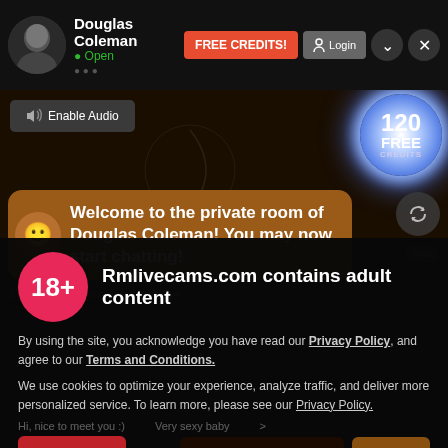Douglas Coleman | Open | FREE CREDITS! | Login
[Figure (screenshot): Live cam website interface showing user profile, enable audio button, 120 FREE CREDITS badge, welcome message bubble for Douglas Coleman's private room, 18+ adult content warning overlay with I AGREE button]
Welcome to the private room of Douglas Coleman! You may now start chatting!
Rmlivecams.com contains adult content
By using the site, you acknowledge you have read our Privacy Policy, and agree to our Terms and Conditions.
We use cookies to optimize your experience, analyze traffic, and deliver more personalized service. To learn more, please see our Privacy Policy.